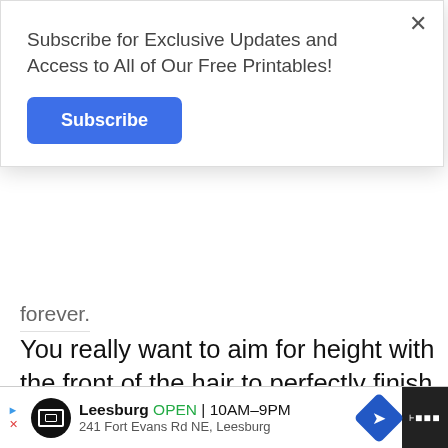Subscribe for Exclusive Updates and Access to All of Our Free Printables!
Subscribe
forever.
You really want to aim for height with the front of the hair to perfectly finish off this incredible look.
7 Man Bun
[Figure (photo): Partial photo of a man bun hairstyle, blurred background]
Leesburg OPEN 10AM–9PM 241 Fort Evans Rd NE, Leesburg